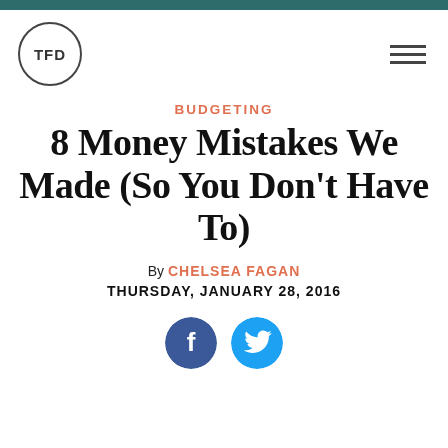TFD logo and navigation bar
BUDGETING
8 Money Mistakes We Made (So You Don't Have To)
By CHELSEA FAGAN
THURSDAY, JANUARY 28, 2016
[Figure (other): Social sharing icons: Facebook and Twitter circular buttons]